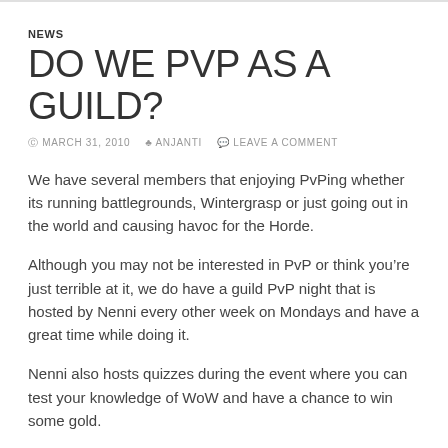NEWS
DO WE PVP AS A GUILD?
© MARCH 31, 2010   ♣ ANJANTI   ✉ LEAVE A COMMENT
We have several members that enjoying PvPing whether its running battlegrounds, Wintergrasp or just going out in the world and causing havoc for the Horde.
Although you may not be interested in PvP or think you're just terrible at it, we do have a guild PvP night that is hosted by Nenni every other week on Mondays and have a great time while doing it.
Nenni also hosts quizzes during the event where you can test your knowledge of WoW and have a chance to win some gold.